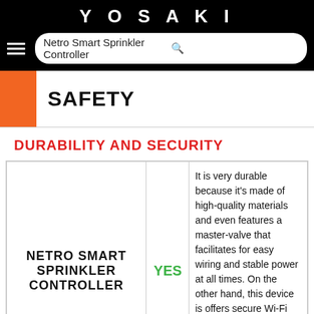YOSAKI
Netro Smart Sprinkler Controller
SAFETY
DURABILITY AND SECURITY
| Product | YES/NO | Description |
| --- | --- | --- |
| NETRO SMART SPRINKLER CONTROLLER | YES | It is very durable because it's made of high-quality materials and even features a master-valve that facilitates for easy wiring and stable power at all times. On the other hand, this device is offers secure Wi-Fi connection so that your data isn't shared along the way thus ensuring optimum security. |